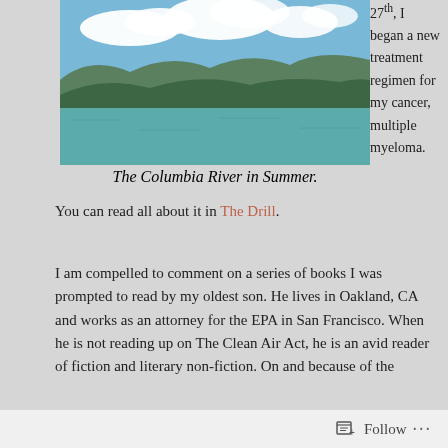[Figure (photo): Photograph of the Columbia River in Summer, showing blue sky with white clouds, forested green hills, and calm water in the foreground.]
27th, I began a new treatment regimen for my cancer, multiple myeloma.
The Columbia River in Summer.
You can read all about it in The Drill.
I am compelled to comment on a series of books I was prompted to read by my oldest son. He lives in Oakland, CA and works as an attorney for the EPA in San Francisco. When he is not reading up on The Clean Air Act, he is an avid reader of fiction and literary non-fiction. On and because of the
Follow ...